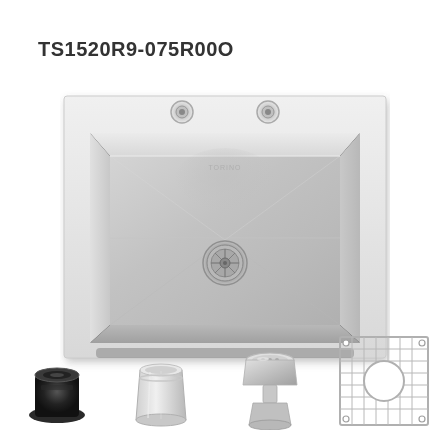TS1520R9-075R00O
[Figure (photo): Top-down view of a stainless steel single-basin drop-in kitchen sink with two faucet holes at the top and a strainer drain in the center of the basin. The sink has a brushed stainless steel finish and sits on a white background.]
[Figure (photo): Four sink accessories displayed at the bottom of the page: a black rubber sink drain flange (left), a stainless steel cup/strainer basket (center-left), a stainless steel drain assembly with basket strainer (center-right), and a stainless steel bottom grid/rack with a circular cutout (right).]